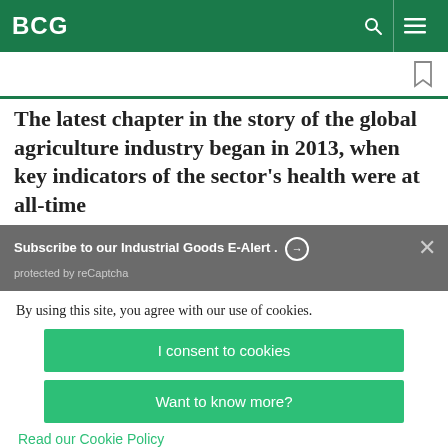BCG
The latest chapter in the story of the global agriculture industry began in 2013, when key indicators of the sector's health were at all-time
Subscribe to our Industrial Goods E-Alert. ➜
protected by reCaptcha
By using this site, you agree with our use of cookies.
I consent to cookies
Want to know more?
Read our Cookie Policy